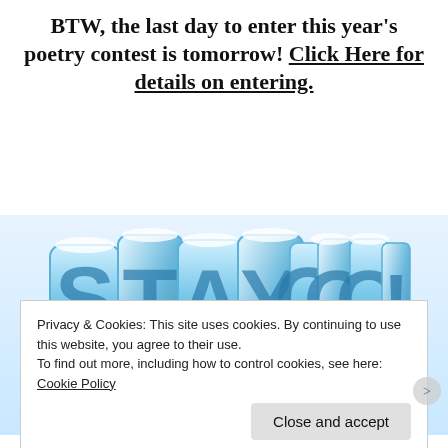BTW, the last day to enter this year's poetry contest is tomorrow! Click Here for details on entering.
[Figure (illustration): Colorful icy 3D bubble letters spelling 'STAY COOL' with dripping ice/snow effects, and the top of a cartoon character's head visible below the letters]
Privacy & Cookies: This site uses cookies. By continuing to use this website, you agree to their use.
To find out more, including how to control cookies, see here: Cookie Policy